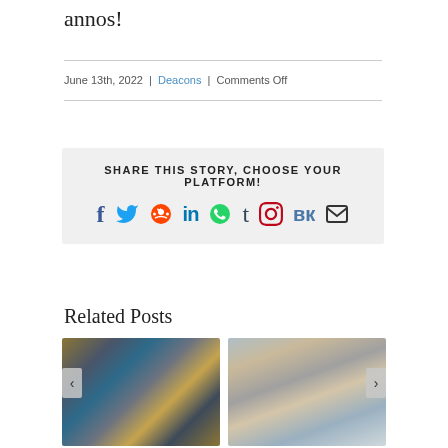annos!
June 13th, 2022 | Deacons | Comments Off
SHARE THIS STORY, CHOOSE YOUR PLATFORM!
[Figure (infographic): Social share icons: Facebook, Twitter, Reddit, LinkedIn, WhatsApp, Tumblr, Pinterest, VK, Email]
Related Posts
[Figure (photo): Byzantine mosaic depicting a religious figure with a halo, with a framed icon inset at top left]
[Figure (photo): Portrait of an older man with grey hair and glasses, smiling, in an outdoor urban setting]